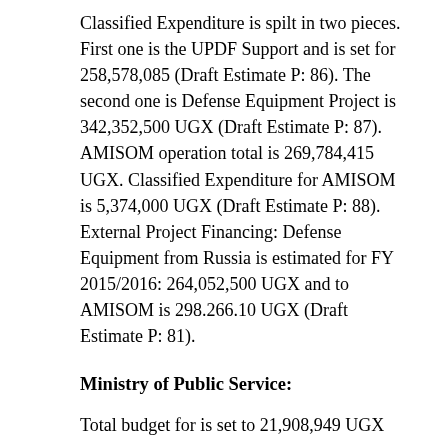Classified Expenditure is spilt in two pieces. First one is the UPDF Support and is set for 258,578,085 (Draft Estimate P: 86). The second one is Defense Equipment Project is 342,352,500 UGX (Draft Estimate P: 87). AMISOM operation total is 269,784,415 UGX. Classified Expenditure for AMISOM is 5,374,000 UGX (Draft Estimate P: 88). External Project Financing: Defense Equipment from Russia is estimated for FY 2015/2016: 264,052,500 UGX and to AMISOM is 298.266.10 UGX (Draft Estimate P: 81).
Ministry of Public Service:
Total budget for is set to 21,908,949 UGX